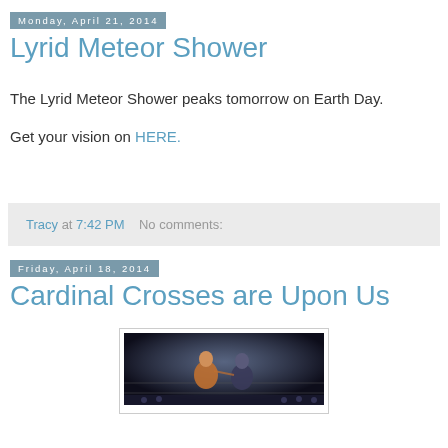Monday, April 21, 2014
Lyrid Meteor Shower
The Lyrid Meteor Shower peaks tomorrow on Earth Day.
Get your vision on HERE.
Tracy at 7:42 PM    No comments:
Friday, April 18, 2014
Cardinal Crosses are Upon Us
[Figure (photo): Two people in a boxing or wrestling ring, dramatic lighting, action scene]